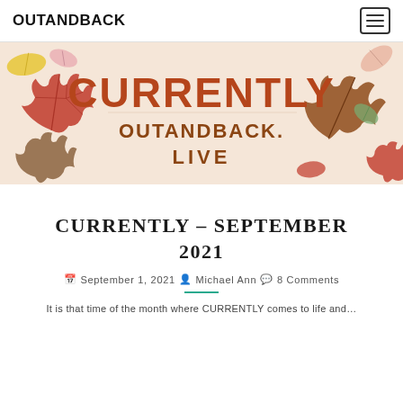OUTANDBACK
[Figure (illustration): Autumn-themed banner with fall leaves (red, orange, yellow, green) surrounding the text 'CURRENTLY' in large orange letters and 'OUTANDBACK. LIVE' below it, on a light peachy background.]
CURRENTLY – SEPTEMBER 2021
September 1, 2021  Michael Ann  8 Comments
It is that time of the month where CURRENTLY comes to life and...